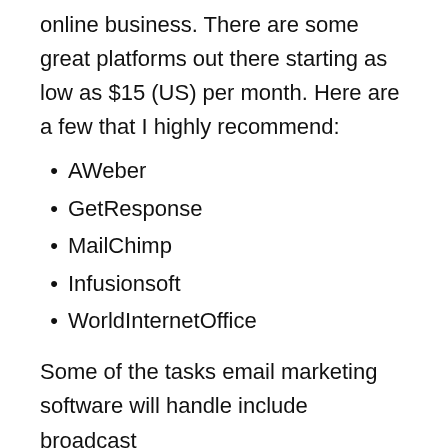online business. There are some great platforms out there starting as low as $15 (US) per month. Here are a few that I highly recommend:
AWeber
GetResponse
MailChimp
Infusionsoft
WorldInternetOffice
Some of the tasks email marketing software will handle include broadcast